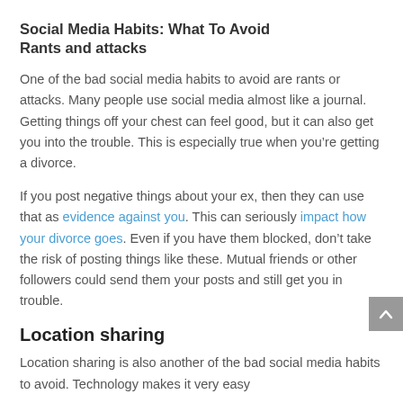Social Media Habits: What To Avoid
Rants and attacks
One of the bad social media habits to avoid are rants or attacks. Many people use social media almost like a journal. Getting things off your chest can feel good, but it can also get you into the trouble. This is especially true when you’re getting a divorce.
If you post negative things about your ex, then they can use that as evidence against you. This can seriously impact how your divorce goes. Even if you have them blocked, don’t take the risk of posting things like these. Mutual friends or other followers could send them your posts and still get you in trouble.
Location sharing
Location sharing is also another of the bad social media habits to avoid. Technology makes it very easy